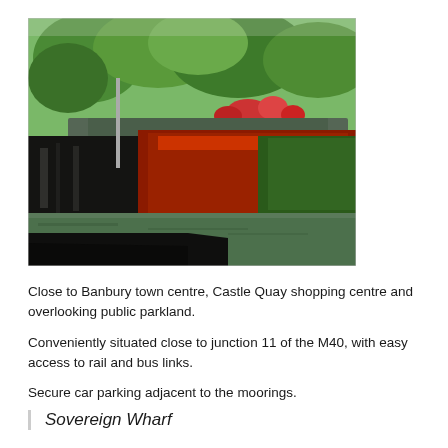[Figure (photo): Narrowboats moored at a canal wharf, with lush green trees in the background, colourful flowers on the boat roofs, and reflective dark-painted boat hulls in the foreground. The scene shows a peaceful canal setting.]
Close to Banbury town centre, Castle Quay shopping centre and overlooking public parkland.
Conveniently situated close to junction 11 of the M40, with easy access to rail and bus links.
Secure car parking adjacent to the moorings.
Sovereign Wharf